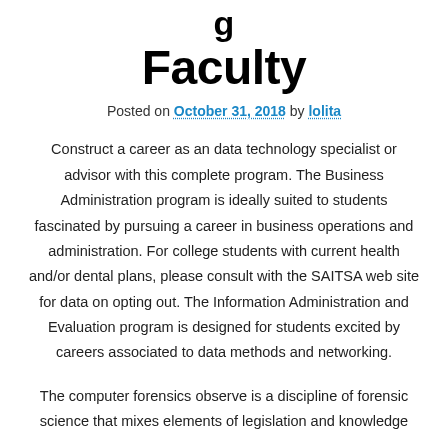Faculty
Posted on October 31, 2018 by lolita
Construct a career as an data technology specialist or advisor with this complete program. The Business Administration program is ideally suited to students fascinated by pursuing a career in business operations and administration. For college students with current health and/or dental plans, please consult with the SAITSA web site for data on opting out. The Information Administration and Evaluation program is designed for students excited by careers associated to data methods and networking.
The computer forensics observe is a discipline of forensic science that mixes elements of legislation and knowledge